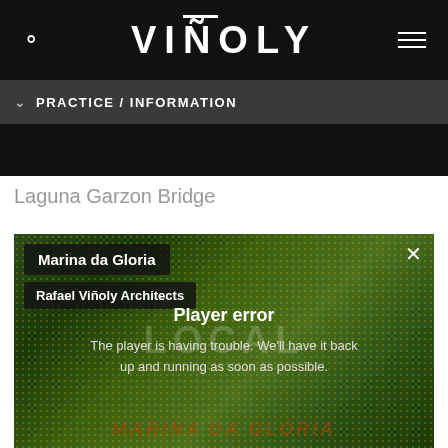VIÑOLY
PRACTICE / INFORMATION
Laguna Garzon Bridge
[Figure (screenshot): Video player showing Marina da Gloria project with a player error message. Labels show 'Marina da Gloria' and 'Rafael Viñoly Architects'. Error reads: Player error — The player is having trouble. We'll have it back up and running as soon as possible.]